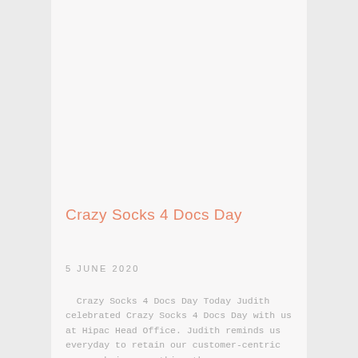Crazy Socks 4 Docs Day
5 JUNE 2020
Crazy Socks 4 Docs Day Today Judith celebrated Crazy Socks 4 Docs Day with us at Hipac Head Office. Judith reminds us everyday to retain our customer-centric approach in everything tha...